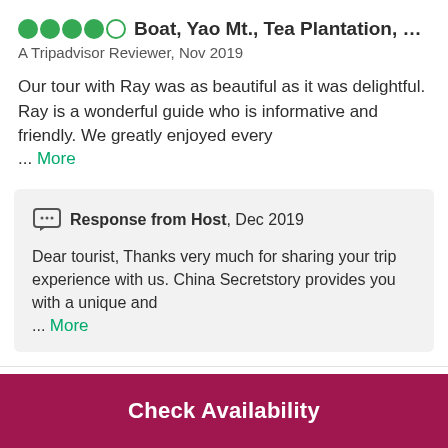Boat, Yao Mt., Tea Plantation, 20 RM...
A Tripadvisor Reviewer, Nov 2019
Our tour with Ray was as beautiful as it was delightful. Ray is a wonderful guide who is informative and friendly. We greatly enjoyed every
... More
Response from Host, Dec 2019
Dear tourist, Thanks very much for sharing your trip experience with us. China Secretstory provides you with a unique and
... More
Check Availability